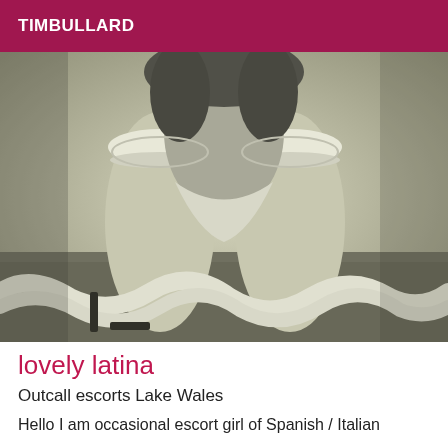TIMBULLARD
[Figure (photo): Black and white / sepia toned photo of a woman in lingerie and stockings with a feather boa, kneeling pose, high heels]
lovely latina
Outcall escorts Lake Wales
Hello I am occasional escort girl of Spanish / Italian